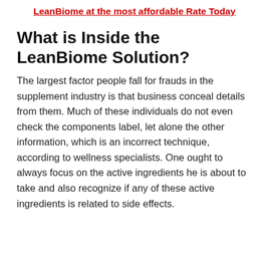LeanBiome at the most affordable Rate Today
What is Inside the LeanBiome Solution?
The largest factor people fall for frauds in the supplement industry is that business conceal details from them. Much of these individuals do not even check the components label, let alone the other information, which is an incorrect technique, according to wellness specialists. One ought to always focus on the active ingredients he is about to take and also recognize if any of these active ingredients is related to side effects.